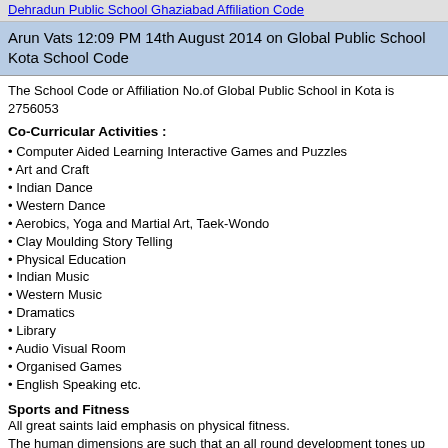Dehradun Public School Ghaziabad Affiliation Code
Arun Vats 12:09 PM 14th August 2014 on Global Public School Kota School Code
The School Code or Affiliation No.of Global Public School in Kota is 2756053
Co-Curricular Activities :
Computer Aided Learning Interactive Games and Puzzles
Art and Craft
Indian Dance
Western Dance
Aerobics, Yoga and Martial Art, Taek-Wondo
Clay Moulding Story Telling
Physical Education
Indian Music
Western Music
Dramatics
Library
Audio Visual Room
Organised Games
English Speaking etc.
Sports and Fitness
All great saints laid emphasis on physical fitness.
The human dimensions are such that an all round development tones up all vital organs of the body and provide for maximum suability of the